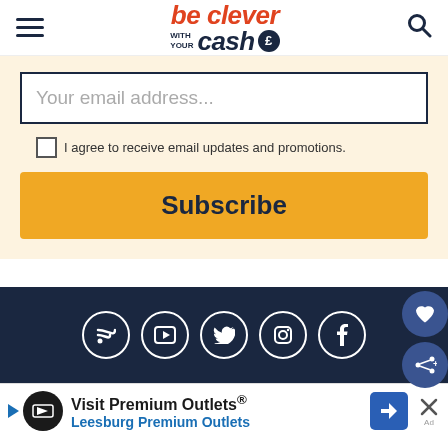[Figure (logo): Be Clever With Your Cash logo with hamburger menu and search icon]
Your email address...
I agree to receive email updates and promotions.
Subscribe
[Figure (infographic): Social media icons: RSS, YouTube, Twitter, Instagram, Facebook in white circles on dark navy background, with floating like and share buttons]
[Figure (infographic): Advertisement banner: Visit Premium Outlets® - Leesburg Premium Outlets with logo and navigation arrow]